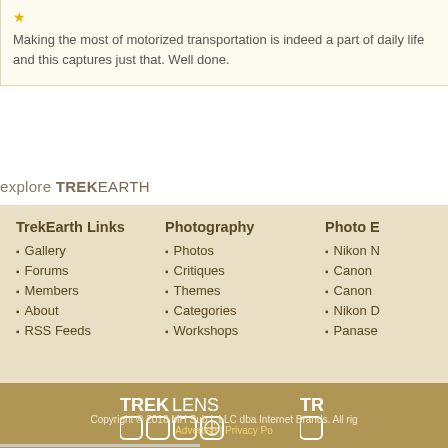Making the most of motorized transportation is indeed a part of daily life and this captures just that. Well done.
explore TREKEARTH
TrekEarth Links: Gallery, Forums, Members, About, RSS Feeds
Photography: Photos, Critiques, Themes, Categories, Workshops
Photo E: Nikon, Canon, Canon, Nikon, Panase
[Figure (logo): TREKLENS logo with grid of square icons]
[Figure (logo): TR logo partial with square icon]
Copyright © 2018 MH Sub I, LLC dba Internet Brands. All rights reserved. Advertise | Privacy Po